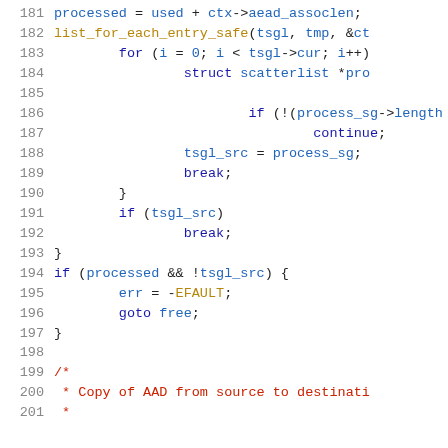[Figure (screenshot): Source code listing lines 181-201 showing C code with syntax highlighting. Line numbers in gray on the left, keywords in blue, identifiers in dark gold/brown, comments in dark red.]